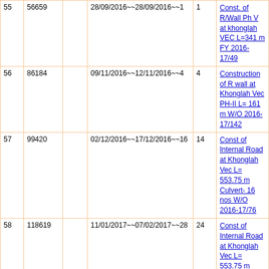| # | ID |  | Date Range~~Days | Days | Description |
| --- | --- | --- | --- | --- | --- |
| 55 | 56659 |  | 28/09/2016~~28/09/2016~~1 | 1 | Const. of R/Wall Ph V at khonglah VEC L=341 m FY 2016-17/49 |
| 56 | 86184 |  | 09/11/2016~~12/11/2016~~4 | 4 | Construction of R wall at Khonglah Vec PH-II L= 161 m W/O 2016-17/142 |
| 57 | 99420 |  | 02/12/2016~~17/12/2016~~16 | 14 | Const of Internal Road at Khonglah Vec L= 553.75 m Culvert- 16 nos W/O 2016-17/76 |
| 58 | 118619 |  | 11/01/2017~~07/02/2017~~28 | 24 | Const of Internal Road at Khonglah Vec L= 553.75 m Culvert- 16 nos W/O 2016-17/76 |
| 59 | 147794 |  | 21/02/2017~~09/03/2017~~17 | 15 | Const of side drain slab cover at Khonglah Vec L= 555.48 m W/O 2016-17/180 |
| 60 | 168792 |  | 21/03/2017~~24/03/2017~~4 | 4 | Constn of Railing at Khonglah VEC L=1295m W/O 2016-17/196 |